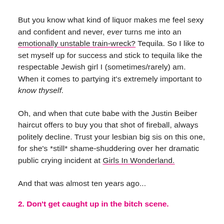But you know what kind of liquor makes me feel sexy and confident and never, ever turns me into an emotionally unstable train-wreck? Tequila. So I like to set myself up for success and stick to tequila like the respectable Jewish girl I (sometimes/rarely) am. When it comes to partying it's extremely important to know thyself.
Oh, and when that cute babe with the Justin Beiber haircut offers to buy you that shot of fireball, always politely decline. Trust your lesbian big sis on this one, for she's *still* shame-shuddering over her dramatic public crying incident at Girls In Wonderland.
And that was almost ten years ago...
2. Don't get caught up in the bitch scene.